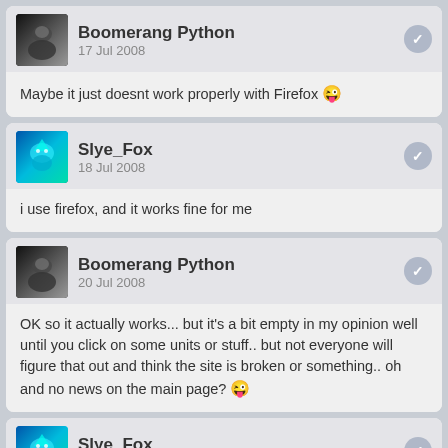Boomerang Python
17 Jul 2008
Maybe it just doesnt work properly with Firefox 😜
Slye_Fox
18 Jul 2008
i use firefox, and it works fine for me
Boomerang Python
20 Jul 2008
OK so it actually works... but it's a bit empty in my opinion well until you click on some units or stuff.. but not everyone will figure that out and think the site is broken or something.. oh and no news on the main page? 😜
Slye_Fox
21 Jul 2008
lack of content dosn't mean it's broken.